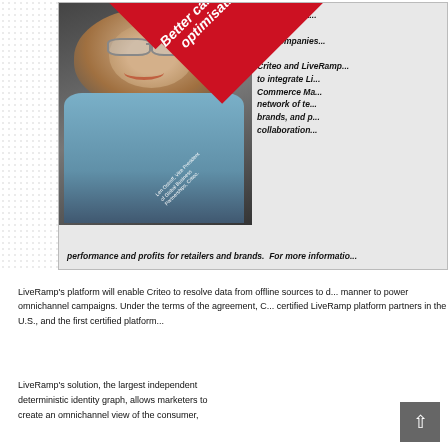[Figure (photo): Photo of Len Ostroff, Vice President of Global Business Partnerships, Criteo, with a red diagonal banner reading 'Better campaign optimisation' overlaid on the image]
announced a... two companies... Criteo and LiveRamp... to integrate Li... Commerce Ma... network of te... brands, and p... collaboration...
performance and profits for retailers and brands. For more informatio...
LiveRamp's platform will enable Criteo to resolve data from offline sources to d... manner to power omnichannel campaigns. Under the terms of the agreement, C... certified LiveRamp platform partners in the U.S., and the first certified platform...
LiveRamp's solution, the largest independent deterministic identity graph, allows marketers to create an omnichannel view of the consumer,